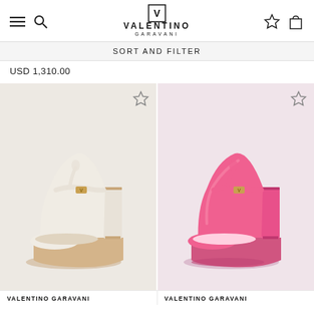Valentino Garavani — navigation header with menu, search, wishlist, and cart icons
SORT AND FILTER
USD 1,310.00
[Figure (photo): White platform heel shoe by Valentino Garavani with ankle strap and VLogo buckle on beige background]
[Figure (photo): Pink platform heel shoe by Valentino Garavani with ankle strap and VLogo buckle on light pink background]
VALENTINO GARAVANI
VALENTINO GARAVANI